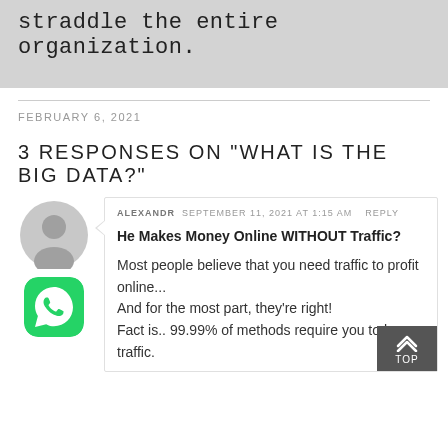straddle the entire organization.
FEBRUARY 6, 2021
3 RESPONSES ON "WHAT IS THE BIG DATA?"
ALEXANDR  SEPTEMBER 11, 2021 AT 1:15 AM  REPLY
He Makes Money Online WITHOUT Traffic?
Most people believe that you need traffic to profit online...
And for the most part, they're right!
Fact is.. 99.99% of methods require you to have traffic.